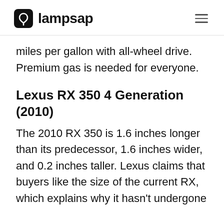lampsap
miles per gallon with all-wheel drive. Premium gas is needed for everyone.
Lexus RX 350 4 Generation (2010)
The 2010 RX 350 is 1.6 inches longer than its predecessor, 1.6 inches wider, and 0.2 inches taller. Lexus claims that buyers like the size of the current RX, which explains why it hasn't undergone